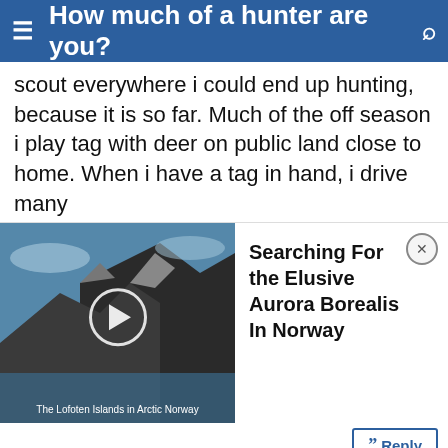How much of a hunter are you?
scout everywhere i could end up hunting, because it is so far. Much of the off season i play tag with deer on public land close to home. When i have a tag in hand, i drive many
[Figure (screenshot): Video thumbnail showing mountain/fjord landscape in Arctic Norway with play button, overlaid with ad panel 'Searching For the Elusive Aurora Borealis In Norway' and a close button]
Reply
cayugad , 12-18-2013 06:00 PM
Dominant Buck
#3
Quote:
Originally Posted by Grouse45
1- Do you try and hunt every week say October threw January? Deer, small game, varmints, etc?